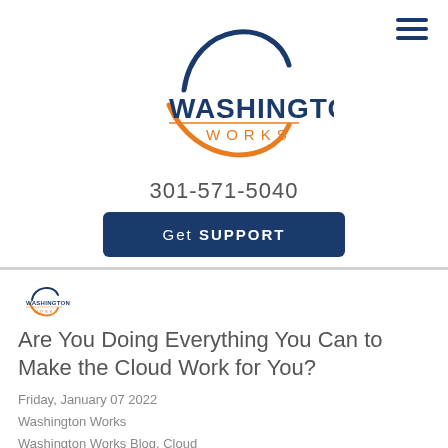[Figure (logo): Washington Works logo with blue arc on top and orange arc on bottom, company name in navy and orange text]
301-571-5040
Get SUPPORT
[Figure (logo): Small Washington Works mini logo]
Are You Doing Everything You Can to Make the Cloud Work for You?
Friday, January 07 2022
Washington Works
Washington Works Blog, Cloud
[Figure (photo): Light blue cloud computing themed background image]